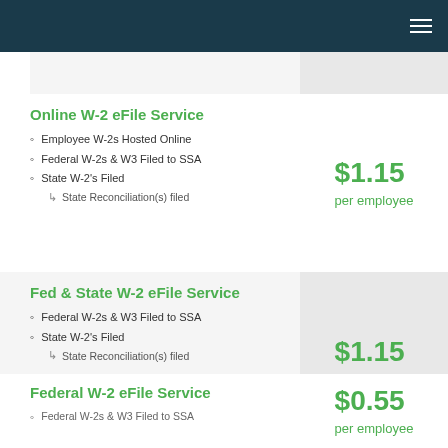Online W-2 eFile Service
Employee W-2s Hosted Online
Federal W-2s & W3 Filed to SSA
State W-2's Filed
State Reconciliation(s) filed
$1.15 per employee
Fed & State W-2 eFile Service
Federal W-2s & W3 Filed to SSA
State W-2's Filed
State Reconciliation(s) filed
$1.15 per employee
Federal W-2 eFile Service
Federal W-2s & W3 Filed to SSA
$0.55 per employee